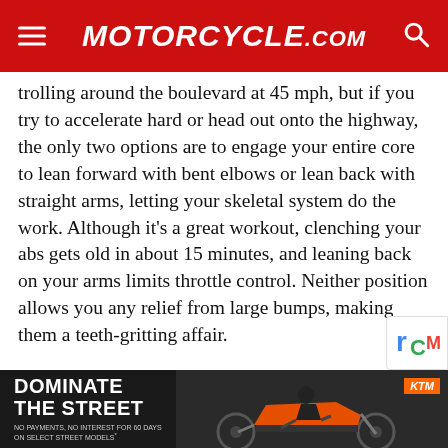Motorcycle.com
trolling around the boulevard at 45 mph, but if you try to accelerate hard or head out onto the highway, the only two options are to engage your entire core to lean forward with bent elbows or lean back with straight arms, letting your skeletal system do the work. Although it's a great workout, clenching your abs gets old in about 15 minutes, and leaning back on your arms limits throttle control. Neither position allows you any relief from large bumps, making them a teeth-gritting affair.

In an effort to see if I was being overly harsh on the Standard, I asked Associate Editor, Ryan Adams, to ride it with me for a couple of hours. Since he is 5-foot, 8-inches tall and has a 30-inch inseam, his slightly different perspective would help to see if I was just too tall for the bike. His notes were:
[Figure (photo): KTM motorcycle advertisement: 'Dominate The Street' with a rider on an orange KTM motorcycle against a dark background. Fine print reads: No payments, no interest for 60 days on select street models.]